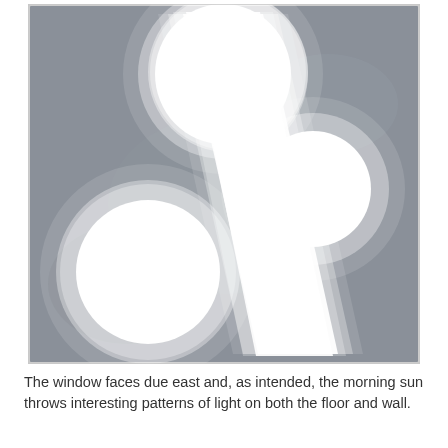[Figure (photo): A photograph of light patterns cast on a concrete floor. The light pattern resembles a percent sign or a diagonal bar with two circular blobs of bright white light on either side — one on the upper left and one on the lower right — connected by a diagonal band of light, and two more circular blobs offset to the sides. The floor is grey concrete and the light is very bright, likely sunlight filtered through a window.]
The window faces due east and, as intended, the morning sun throws interesting patterns of light on both the floor and wall.